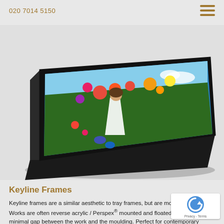020 7014 5150
[Figure (photo): A framed photo print in a black tray/keyline frame, shown at an angle. The photo depicts a girl in a white dress among colorful flowers.]
Keyline Frames
Keyline frames are a similar aesthetic to tray frames, but are more slimline. Works are often reverse acrylic / Perspex® mounted and floated with only a minimal gap between the work and the moulding. Perfect for contemporary artwork. Fra options available in both narrow and wide styles but for sizes and options please visit or contact our team.